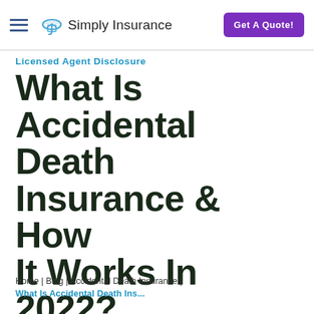Simply Insurance | Get A Quote!
Licensed Agent Disclosure
What Is Accidental Death Insurance & How It Works In 2022?
Home | Blog | Accidental Death Insurance | What Is Accidental Death Ins...